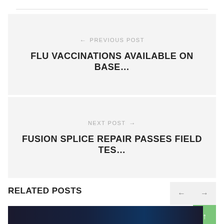← PREVIOUS POST
FLU VACCINATIONS AVAILABLE ON BASE...
NEXT POST →
FUSION SPLICE REPAIR PASSES FIELD TES...
RELATED POSTS
[Figure (photo): Dark photo showing people, possibly military personnel, with lighting effects]